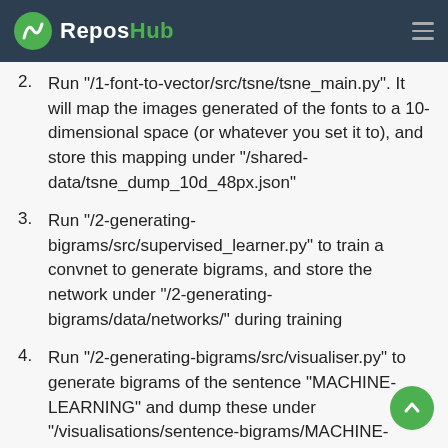ReposHub
Run "/1-font-to-vector/src/tsne/tsne_main.py". It will map the images generated of the fonts to a 10-dimensional space (or whatever you set it to), and store this mapping under "/shared-data/tsne_dump_10d_48px.json"
Run "/2-generating-bigrams/src/supervised_learner.py" to train a convnet to generate bigrams, and store the network under "/2-generating-bigrams/data/networks/" during training
Run "/2-generating-bigrams/src/visualiser.py" to generate bigrams of the sentence "MACHINE-LEARNING" and dump these under "/visualisations/sentence-bigrams/MACHINE-LEARNING/"